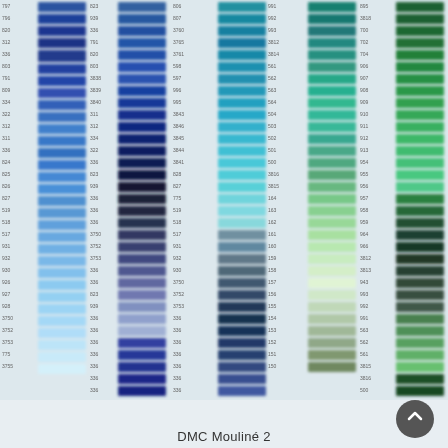[Figure (infographic): DMC Mouliné 2 color chart showing columns of thread color swatches in shades ranging from blue, navy, steel blue, teal, green-teal, and green. Each swatch strip is labeled with a DMC thread number. Colors transition from deep navy blues on the left through medium blues, teals, and various greens toward the right. The image is slightly blurred/low resolution.]
DMC Mouliné 2